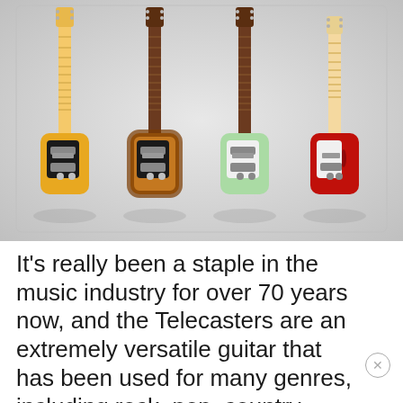[Figure (photo): Four Fender Telecaster electric guitars displayed side by side against a light grey gradient background. From left to right: butterscotch blonde with black pickguard, sunburst/honey burst with black pickguard, surf green/mint with white pickguard, and dark red/candy apple red semi-hollow with white pickguard.]
It's really been a staple in the music industry for over 70 years now, and the Telecasters are an extremely versatile guitar that has been used for many genres, including rock, pop, country, jazz, folk, blues, punk, metal, alternative, RnB, and reggae. The